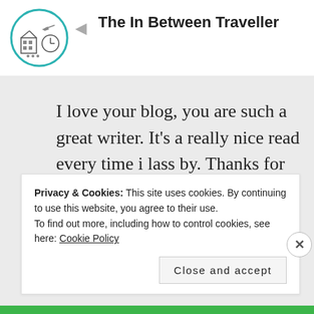[Figure (logo): Circular logo with teal border containing a pixel-art style illustration of a building, clock, and other travel-related icons — the logo for 'The In Between Traveller' blog]
The In Between Traveller
I love your blog, you are such a great writer. It's a really nice read every time i lass by. Thanks for sharing
★ Liked by 2 people
Privacy & Cookies: This site uses cookies. By continuing to use this website, you agree to their use.
To find out more, including how to control cookies, see here: Cookie Policy
Close and accept